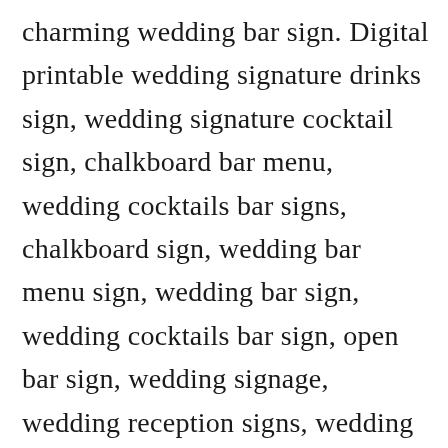charming wedding bar sign. Digital printable wedding signature drinks sign, wedding signature cocktail sign, chalkboard bar menu, wedding cocktails bar signs, chalkboard sign, wedding bar menu sign, wedding bar sign, wedding cocktails bar sign, open bar sign, wedding signage, wedding reception signs, wedding sign, watercolor drinks illustration, watercolor cocktails illustration idm18 ♥♡♥ this listing is for. Let us help you with the event planning process. Black with colourful drink